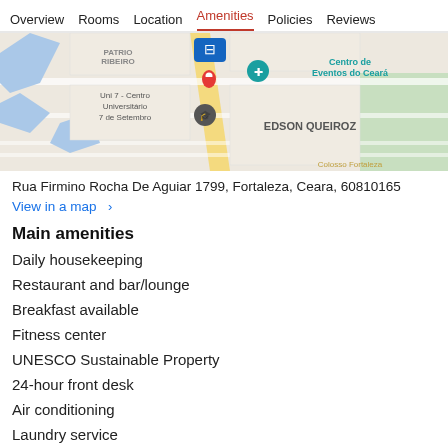Overview  Rooms  Location  Amenities  Policies  Reviews
[Figure (map): Google Maps view showing hotel location near Patrio Ribeiro, Uni 7 Centro Universitário 7 de Setembro, Centro de Eventos do Ceará, and Edson Queiroz neighborhood in Fortaleza, Brazil.]
Rua Firmino Rocha De Aguiar 1799, Fortaleza, Ceara, 60810165
View in a map  >
Main amenities
Daily housekeeping
Restaurant and bar/lounge
Breakfast available
Fitness center
UNESCO Sustainable Property
24-hour front desk
Air conditioning
Laundry service